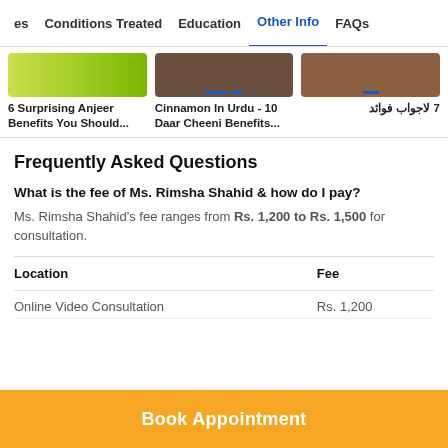es  Conditions Treated  Education  Other Info  FAQs
[Figure (photo): Three article cards with images: '6 Surprising Anjeer Benefits You Should...', 'Cinnamon In Urdu - 10 Daar Cheeni Benefits...', '7 لاجواب فوائد']
Frequently Asked Questions
What is the fee of Ms. Rimsha Shahid & how do I pay?
Ms. Rimsha Shahid's fee ranges from Rs. 1,200 to Rs. 1,500 for consultation.
| Location | Fee |
| --- | --- |
| Online Video Consultation | Rs. 1,200 |
Book Appointment